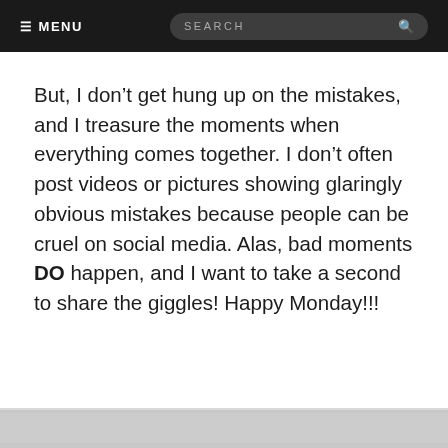≡ MENU   SEARCH 🔍
But, I don't get hung up on the mistakes, and I treasure the moments when everything comes together. I don't often post videos or pictures showing glaringly obvious mistakes because people can be cruel on social media. Alas, bad moments DO happen, and I want to take a second to share the giggles! Happy Monday!!!
[Figure (photo): Partial view of an image strip at the bottom of the page, showing a grey/light scene]